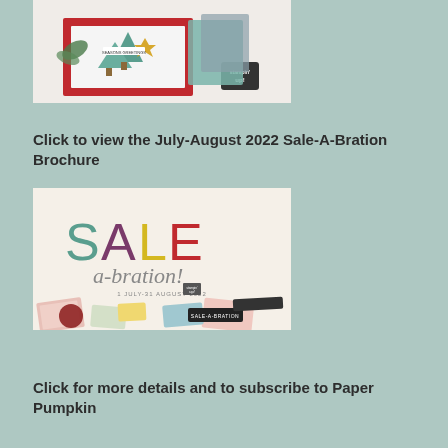[Figure (photo): Christmas card craft photo showing decorative holiday trees, greenery, red card background, and a Stampin' Up! logo badge]
Click to view the July-August 2022 Sale-A-Bration Brochure
[Figure (photo): Sale-A-Bration promotional image showing colorful text 'SALE a-bration!' with date '1 JULY-31 AUGUST 2022' and crafting supplies scattered below]
Click for more details and to subscribe to Paper Pumpkin